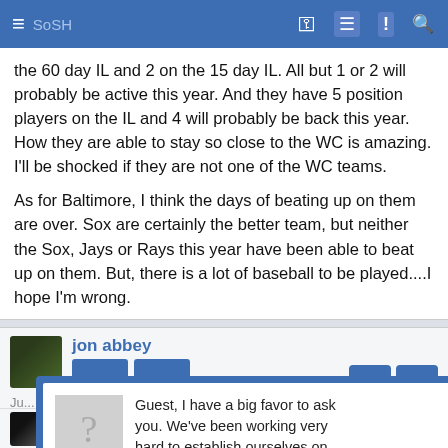≡  SoSH  ⚿  ≡  !  🔍
the 60 day IL and 2 on the 15 day IL. All but 1 or 2 will probably be active this year. And they have 5 position players on the IL and 4 will probably be back this year. How they are able to stay so close to the WC is amazing. I'll be shocked if they are not one of the WC teams.
As for Baltimore, I think the days of beating up on them are over. Sox are certainly the better team, but neither the Sox, Jays or Rays this year have been able to beat up on them. But, there is a lot of baseball to be played....I hope I'm wrong.
jon abbey
#4,009
B... am than they've b...
[Figure (screenshot): Popup dialog with question mark icon asking Guest to follow SoSH on Facebook and Inside the Pylon. Contains links 'SoSH on Facebook' and 'Inside the Pylon'. Has close X button and blue border.]
amfox1